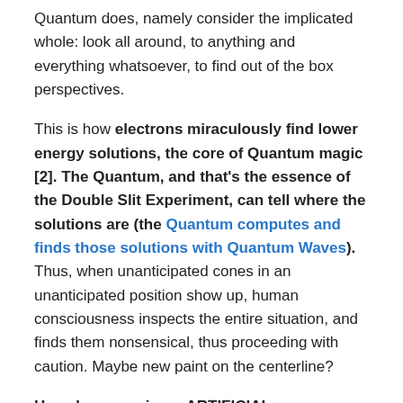Quantum does, namely consider the implicated whole: look all around, to anything and everything whatsoever, to find out of the box perspectives.
This is how electrons miraculously find lower energy solutions, the core of Quantum magic [2]. The Quantum, and that's the essence of the Double Slit Experiment, can tell where the solutions are (the Quantum computes and finds those solutions with Quantum Waves). Thus, when unanticipated cones in an unanticipated position show up, human consciousness inspects the entire situation, and finds them nonsensical, thus proceeding with caution. Maybe new paint on the centerline?
How do we engineer ARTIFICIAL CONSCIOUSNESS? Well, by computing with Quantum Waves, also known